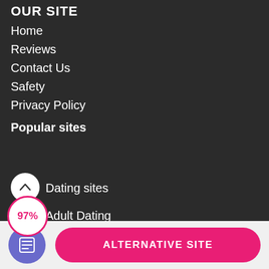OUR SITE
Home
Reviews
Contact Us
Safety
Privacy Policy
Popular sites
Dating sites
Adult Dating
ALTERNATIVE SITE